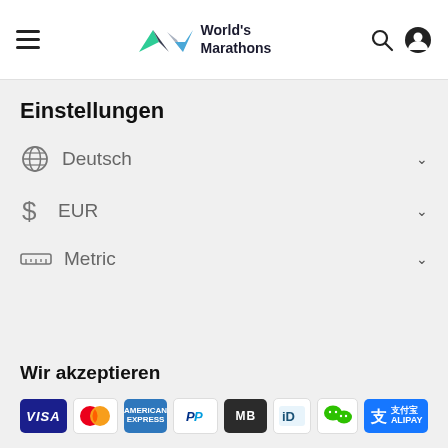World's Marathons
Einstellungen
Deutsch
EUR
Metric
Wir akzeptieren
[Figure (logo): Payment method logos: VISA, Mastercard, American Express, PayPal, MB, iD, WeChat Pay, Alipay]